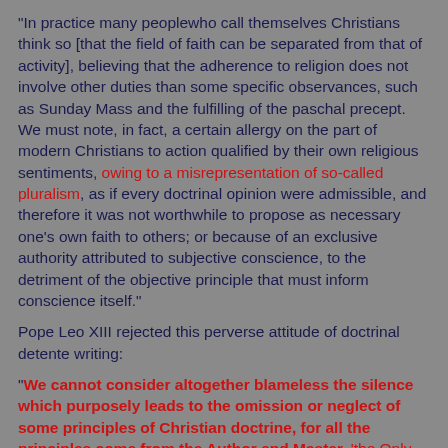"In practice many peoplewho call themselves Christians think so [that the field of faith can be separated from that of activity], believing that the adherence to religion does not involve other duties than some specific observances, such as Sunday Mass and the fulfilling of the paschal precept. We must note, in fact, a certain allergy on the part of modern Christians to action qualified by their own religious sentiments, owing to a misrepresentation of so-called pluralism, as if every doctrinal opinion were admissible, and therefore it was not worthwhile to propose as necessary one's own faith to others; or because of an exclusive authority attributed to subjective conscience, to the detriment of the objective principle that must inform conscience itself."
Pope Leo XIII rejected this perverse attitude of doctrinal detente writing:
"We cannot consider altogether blameless the silence which purposely leads to the omission or neglect of some principles of Christian doctrine, for all the principles come from the Author and Master, 'the Only